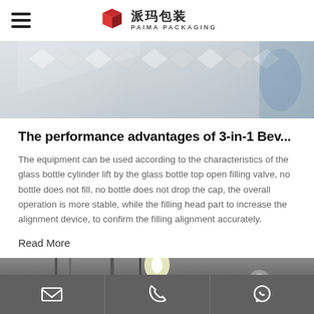派玛包装 PAIMA PACKAGING
[Figure (photo): Close-up photo of glass bottles on a conveyor or packaging machine, light reflections visible]
The performance advantages of 3-in-1 Bev...
The equipment can be used according to the characteristics of the glass bottle cylinder lift by the glass bottle top open filling valve, no bottle does not fill, no bottle does not drop the cap, the overall operation is more stable, while the filling head part to increase the alignment device, to confirm the filling alignment accurately.
Read More
[Figure (photo): Industrial machinery interior, pipes and equipment visible in a factory setting]
Email | Phone | WhatsApp